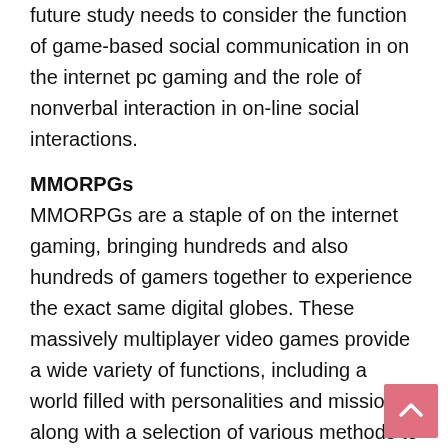future study needs to consider the function of game-based social communication in on the internet pc gaming and the role of nonverbal interaction in on-line social interactions.
MMORPGs
MMORPGs are a staple of on the internet gaming, bringing hundreds and also hundreds of gamers together to experience the exact same digital globes. These massively multiplayer video games provide a wide variety of functions, including a world filled with personalities and missions, along with a selection of various methods to monetize them. A lot of video games include one or a combination of three monetization designs. Some video games bill a monthly membership fee, while others are free to play. In a lot of